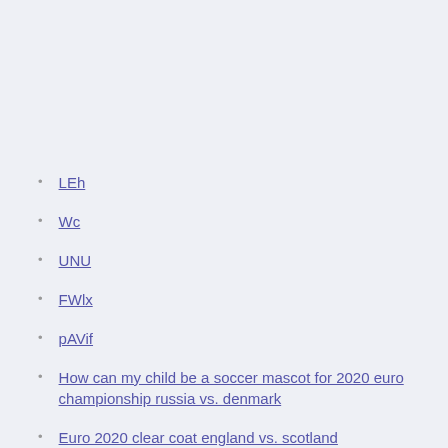LEh
Wc
UNU
FWlx
pAVif
How can my child be a soccer mascot for 2020 euro championship russia vs. denmark
Euro 2020 clear coat england vs. scotland